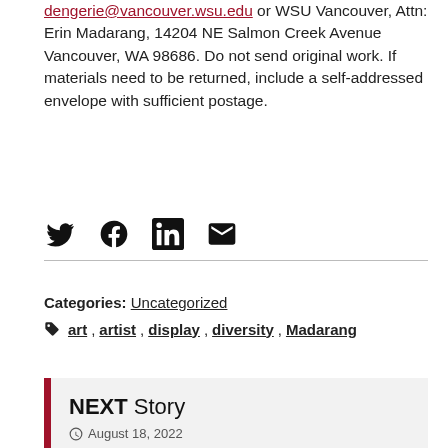dengerie@vancouver.wsu.edu or WSU Vancouver, Attn: Erin Madarang, 14204 NE Salmon Creek Avenue Vancouver, WA 98686. Do not send original work. If materials need to be returned, include a self-addressed envelope with sufficient postage.
[Figure (other): Social share icons: Twitter, Facebook, LinkedIn, Email]
Categories: Uncategorized
Tags: art, artist, display, diversity, Madarang
NEXT Story — August 18, 2022